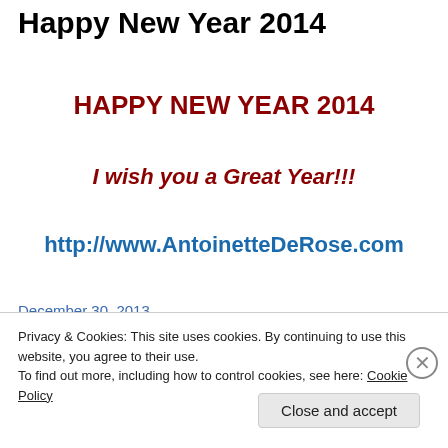Happy New Year 2014
HAPPY NEW YEAR 2014
I wish you a Great Year!!!
http://www.AntoinetteDeRose.com
December 30, 2013
Privacy & Cookies: This site uses cookies. By continuing to use this website, you agree to their use.
To find out more, including how to control cookies, see here: Cookie Policy
Close and accept